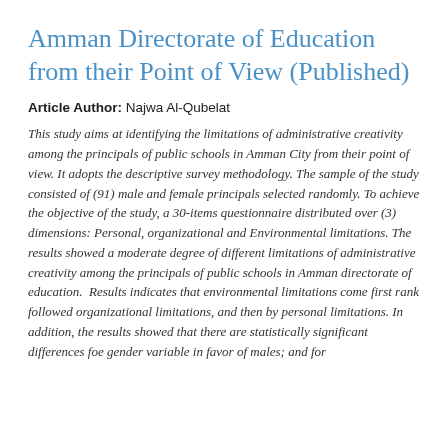Amman Directorate of Education from their Point of View (Published)
Article Author: Najwa Al-Qubelat
This study aims at identifying the limitations of administrative creativity among the principals of public schools in Amman City from their point of view. It adopts the descriptive survey methodology. The sample of the study consisted of (91) male and female principals selected randomly. To achieve the objective of the study, a 30-items questionnaire distributed over (3) dimensions: Personal, organizational and Environmental limitations. The results showed a moderate degree of different limitations of administrative creativity among the principals of public schools in Amman directorate of education. Results indicates that environmental limitations come first rank followed organizational limitations, and then by personal limitations. In addition, the results showed that there are statistically significant differences foe gender variable in favor of males; and for